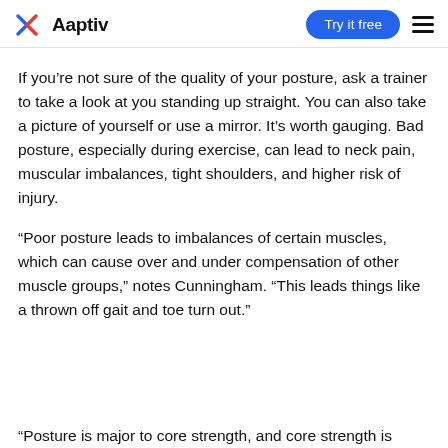Aaptiv  Try it free
If you’re not sure of the quality of your posture, ask a trainer to take a look at you standing up straight. You can also take a picture of yourself or use a mirror. It’s worth gauging. Bad posture, especially during exercise, can lead to neck pain, muscular imbalances, tight shoulders, and higher risk of injury.
“Poor posture leads to imbalances of certain muscles, which can cause over and under compensation of other muscle groups,” notes Cunningham. “This leads things like a thrown off gait and toe turn out.”
“Posture is major to core strength, and core strength is